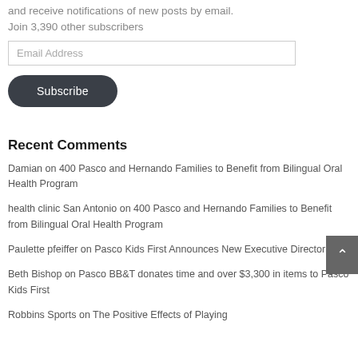and receive notifications of new posts by email. Join 3,390 other subscribers
Email Address
Subscribe
Recent Comments
Damian on 400 Pasco and Hernando Families to Benefit from Bilingual Oral Health Program
health clinic San Antonio on 400 Pasco and Hernando Families to Benefit from Bilingual Oral Health Program
Paulette pfeiffer on Pasco Kids First Announces New Executive Director
Beth Bishop on Pasco BB&T donates time and over $3,300 in items to Pasco Kids First
Robbins Sports on The Positive Effects of Playing